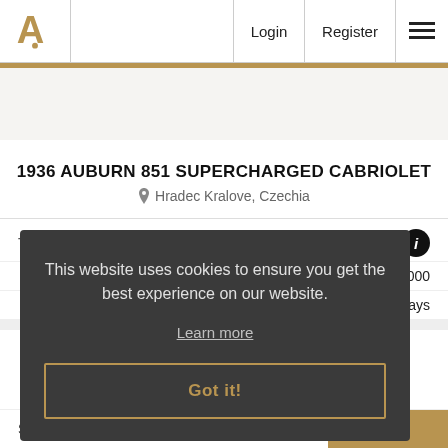Login  Register
1936 AUBURN 851 SUPERCHARGED CABRIOLET
Hradec Kralove, Czechia
Type  Aftersale
0000
days
This website uses cookies to ensure you get the best experience on our website.
Learn more
Got it!
Sold for €16750.00